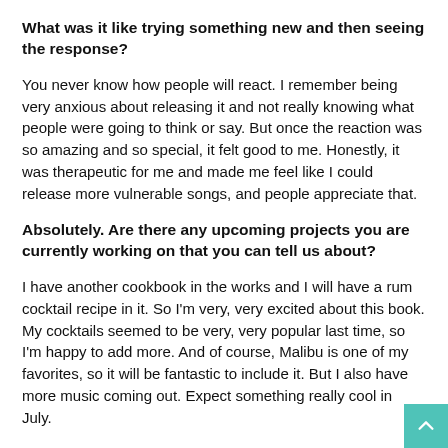What was it like trying something new and then seeing the response?
You never know how people will react. I remember being very anxious about releasing it and not really knowing what people were going to think or say. But once the reaction was so amazing and so special, it felt good to me. Honestly, it was therapeutic for me and made me feel like I could release more vulnerable songs, and people appreciate that.
Absolutely. Are there any upcoming projects you are currently working on that you can tell us about?
I have another cookbook in the works and I will have a rum cocktail recipe in it. So I'm very, very excited about this book. My cocktails seemed to be very, very popular last time, so I'm happy to add more. And of course, Malibu is one of my favorites, so it will be fantastic to include it. But I also have more music coming out. Expect something really cool in July.